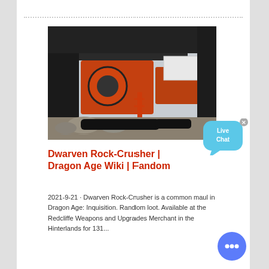[Figure (photo): Industrial orange and black rock crushing machinery on a worksite with rocks on the ground]
Dwarven Rock-Crusher | Dragon Age Wiki | Fandom
2021-9-21 · Dwarven Rock-Crusher is a common maul in Dragon Age: Inquisition. Random loot. Available at the Redcliffe Weapons and Upgrades Merchant in the Hinterlands for 131...